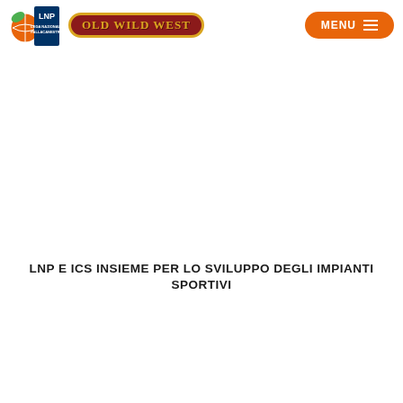LNP Lega Nazionale Pallacanestro | Old Wild West | MENU
LNP E ICS INSIEME PER LO SVILUPPO DEGLI IMPIANTI SPORTIVI